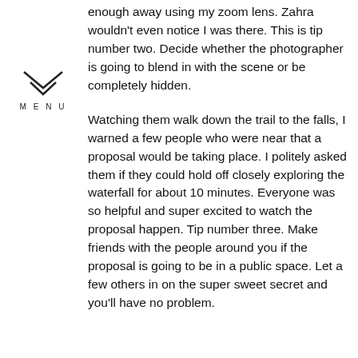enough away using my zoom lens. Zahra wouldn't even notice I was there. This is tip number two. Decide whether the photographer is going to blend in with the scene or be completely hidden.
[Figure (logo): Menu icon: downward-pointing double chevron triangle outline with the word MENU below it in spaced capital letters]
Watching them walk down the trail to the falls, I warned a few people who were near that a proposal would be taking place. I politely asked them if they could hold off closely exploring the waterfall for about 10 minutes. Everyone was so helpful and super excited to watch the proposal happen. Tip number three. Make friends with the people around you if the proposal is going to be in a public space. Let a few others in on the super sweet secret and you'll have no problem.